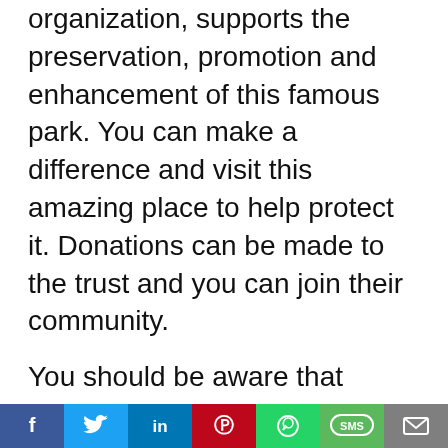organization, supports the preservation, promotion and enhancement of this famous park. You can make a difference and visit this amazing place to help protect it. Donations can be made to the trust and you can join their community.
You should be aware that wildlife can be found throughout the park. Black bears are common in the park, as well as many other species of birds. You can go hiking, backpacking and camping during the summer. Cross-country skiing is a great way to get some solitude during winter. It is best to visit the park during the summer months if you don't want to spend too much time there.
[Figure (infographic): Social sharing bar with icons for Facebook, Twitter, LinkedIn, Pinterest, WhatsApp, SMS, and Email]